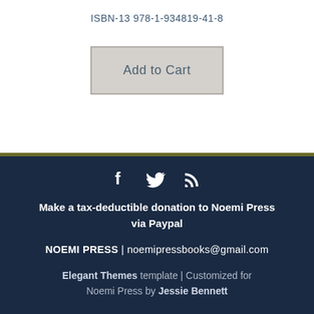ISBN-13 978-1-934819-41-8
Add to Cart
[Figure (infographic): Social media icons: Facebook (f), Twitter (bird), RSS feed icon]
Make a tax-deductible donation to Noemi Press via Paypal
NOEMI PRESS | noemipressbooks@gmail.com
Elegant Themes template | Customized for Noemi Press by Jessie Bennett